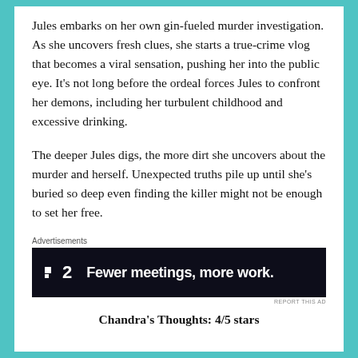Jules embarks on her own gin-fueled murder investigation. As she uncovers fresh clues, she starts a true-crime vlog that becomes a viral sensation, pushing her into the public eye. It’s not long before the ordeal forces Jules to confront her demons, including her turbulent childhood and excessive drinking.
The deeper Jules digs, the more dirt she uncovers about the murder and herself. Unexpected truths pile up until she’s buried so deep even finding the killer might not be enough to set her free.
[Figure (other): Advertisement banner with dark background showing the Basecamp-style logo with a square icon and the number 2, followed by the tagline 'Fewer meetings, more work.']
Chandra’s Thoughts: 4/5 stars